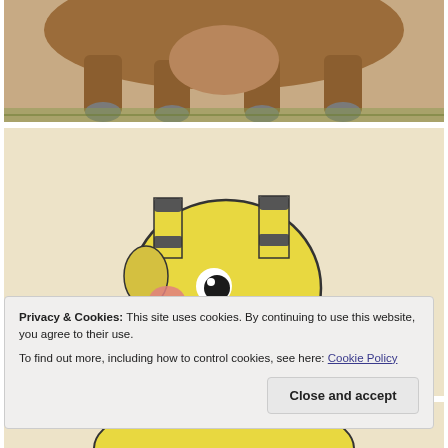[Figure (illustration): Hand-drawn colored pencil illustration of a brown quadruped Pokémon-style creature with grey claws and hooves, standing on grass. Top portion cropped showing body and legs only.]
[Figure (illustration): Hand-drawn colored pencil illustration of a yellow Pokémon-style creature's head (resembling Ampharos/giraffe hybrid) with black-and-yellow striped horns, a pink cheek spot, large dark eye, and a grey-banded neck, on a cream/beige background.]
Privacy & Cookies: This site uses cookies. By continuing to use this website, you agree to their use.
To find out more, including how to control cookies, see here: Cookie Policy
[Figure (illustration): Partial view of a yellow Pokémon-style creature at the bottom of the page, cropped.]